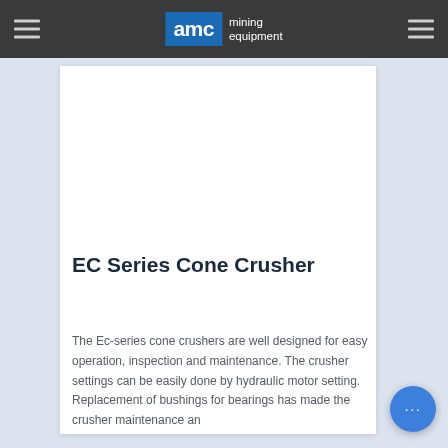AMC mining equipment
EC Series Cone Crusher
The Ec-series cone crushers are well designed for easy operation, inspection and maintenance. The crusher settings can be easily done by hydraulic motor setting. Replacement of bushings for bearings has made the crusher maintenance an